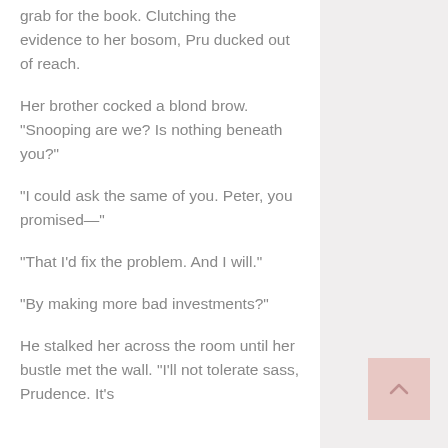grab for the book. Clutching the evidence to her bosom, Pru ducked out of reach.
Her brother cocked a blond brow. "Snooping are we? Is nothing beneath you?"
"I could ask the same of you. Peter, you promised—"
"That I'd fix the problem. And I will."
"By making more bad investments?"
He stalked her across the room until her bustle met the wall. "I'll not tolerate sass, Prudence. It's